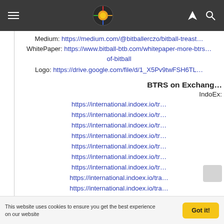Navigation bar with hamburger menu, BitBall logo, location and search icons
Medium: https://medium.com/@bitballerczo/bitball-treas…
WhitePaper: https://www.bitball-btb.com/whitepaper-more-btrs…/of-bitball
Logo: https://drive.google.com/file/d/1_X5Pv9twFSH6TL…
BTRS on Exchang…
IndoEx:
https://international.indoex.io/tr…
https://international.indoex.io/tr…
https://international.indoex.io/tr…
https://international.indoex.io/tr…
https://international.indoex.io/tr…
https://international.indoex.io/tr…
https://international.indoex.io/tr…
https://international.indoex.io/tra…
https://international.indoex.io/tra…
BitAsset Exchange: https://www…bitasset…
This website uses cookies to ensure you get the best experience on our website
Got it!